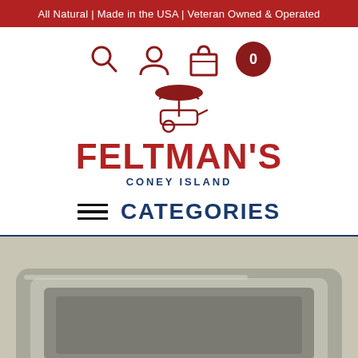All Natural | Made in the USA | Veteran Owned & Operated
[Figure (logo): Feltman's of Coney Island logo with navigation icons (search, user, bag, cart with 0), hot dog cart illustration, bold red FELTMAN'S text, and CONEY ISLAND subtitle in navy blue]
CATEGORIES
[Figure (photo): Partial product photo showing a metallic/steel tray or container, grayscale, cropped at bottom of page]